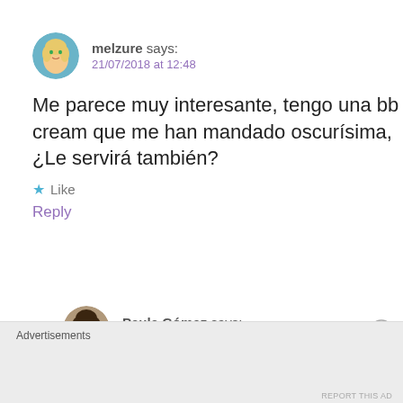melzure says: 21/07/2018 at 12:48
Me parece muy interesante, tengo una bb cream que me han mandado oscurísima, ¿Le servirá también?
Like
Reply
Paula Gómez says: 21/07/2018 at 19:37
¡Es posible! Si es muy, muy
Advertisements